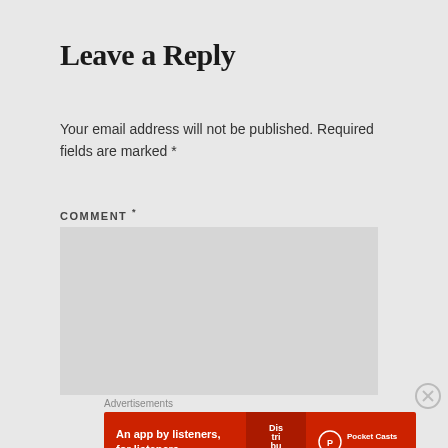Leave a Reply
Your email address will not be published. Required fields are marked *
COMMENT *
[Figure (other): Empty comment text area input box with light gray background]
Advertisements
[Figure (other): Pocket Casts advertisement banner on red background reading 'An app by listeners, for listeners.' with Pocket Casts logo]